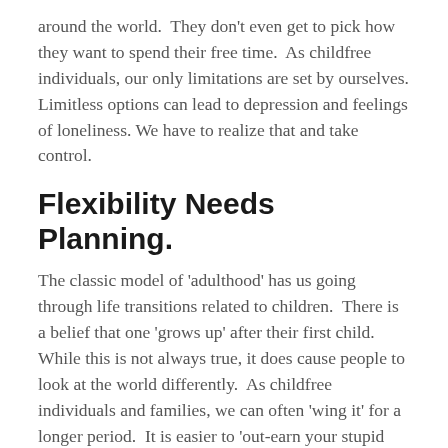around the world.  They don't even get to pick how they want to spend their free time.  As childfree individuals, our only limitations are set by ourselves.  Limitless options can lead to depression and feelings of loneliness. We have to realize that and take control.
Flexibility Needs Planning.
The classic model of 'adulthood' has us going through life transitions related to children.  There is a belief that one 'grows up' after their first child.  While this is not always true, it does cause people to look at the world differently.  As childfree individuals and families, we can often 'wing it' for a longer period.  It is easier to 'out-earn your stupid mistakes' when you don't have kids.  At some point, we need to start planning for our future, even if we don't have the 'standard' life transitions.